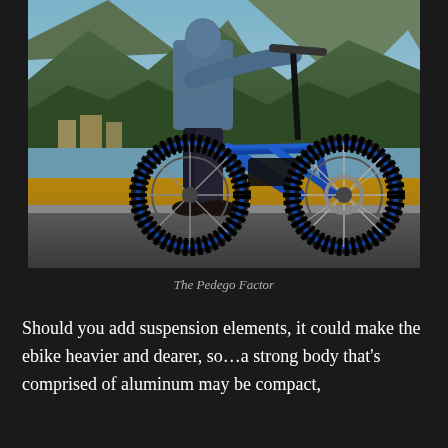[Figure (photo): Person riding a blue Pedego electric fat-tire bike on a paved path near a lake with mountains and trees in the background. The rider wears a plaid jacket and dark jeans. The bike frame is bright blue with 'PEDEGO' branding.]
The Pedego Factor
Should you add suspension elements, it could make the ebike heavier and dearer, so…a strong body that's comprised of aluminum may be compact,